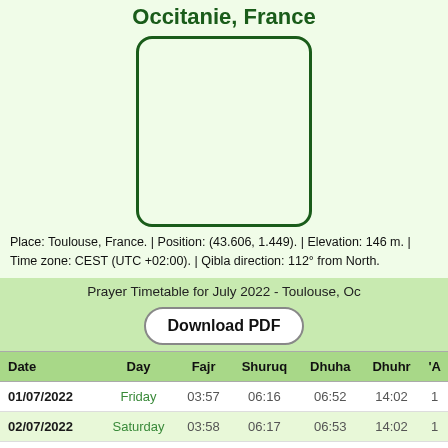Occitanie, France
[Figure (other): QR code placeholder box with rounded corners and dark green border]
Place: Toulouse, France. | Position: (43.606, 1.449). | Elevation: 146 m. | Time zone: CEST (UTC +02:00). | Qibla direction: 112° from North.
Prayer Timetable for July 2022 - Toulouse, Oc
| Date | Day | Fajr | Shuruq | Dhuha | Dhuhr | 'A |
| --- | --- | --- | --- | --- | --- | --- |
| 01/07/2022 | Friday | 03:57 | 06:16 | 06:52 | 14:02 | 1 |
| 02/07/2022 | Saturday | 03:58 | 06:17 | 06:53 | 14:02 | 1 |
| 03/07/2022 | Sunday | 03:59 | 06:17 | 06:53 | 14:02 | 1 |